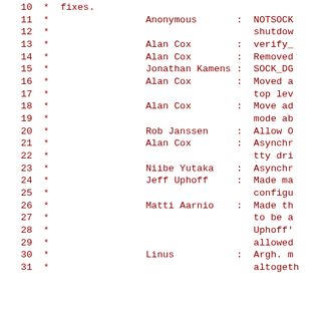10  *  fixes.
11  *                 Anonymous       :  NOTSOCK
12  *                                    shutdow
13  *                 Alan Cox        :  verify_
14  *                 Alan Cox        :  Removed
15  *                 Jonathan Kamens :  SOCK_DG
16  *                 Alan Cox        :  Moved a
17  *                                    top lev
18  *                 Alan Cox        :  Move ad
19  *                                    mode ab
20  *                 Rob Janssen     :  Allow O
21  *                 Alan Cox        :  Asynchr
22  *                                    tty dri
23  *                 Niibe Yutaka    :  Asynchr
24  *                 Jeff Uphoff     :  Made ma
25  *                                    configu
26  *                 Matti Aarnio    :  Made th
27  *                                    to be a
28  *                                    Uphoff'
29  *                                    allowed
30  *                 Linus           :  Argh. m
31  *                                    altogeth